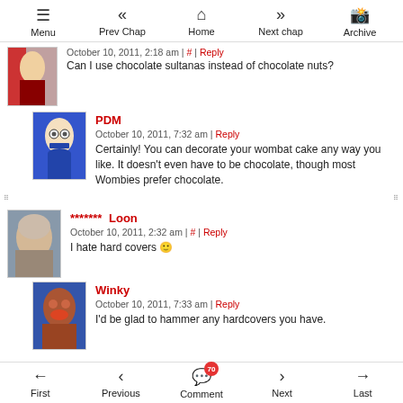Menu | Prev Chap | Home | Next chap | Archive
October 10, 2011, 2:18 am | # | Reply
Can I use chocolate sultanas instead of chocolate nuts?
PDM
October 10, 2011, 7:32 am | Reply
Certainly! You can decorate your wombat cake any way you like. It doesn't even have to be chocolate, though most Wombies prefer chocolate.
******* Loon
October 10, 2011, 2:32 am | # | Reply
I hate hard covers 🙂
Winky
October 10, 2011, 7:33 am | Reply
I'd be glad to hammer any hardcovers you have.
First | Previous | Comment | Next | Last